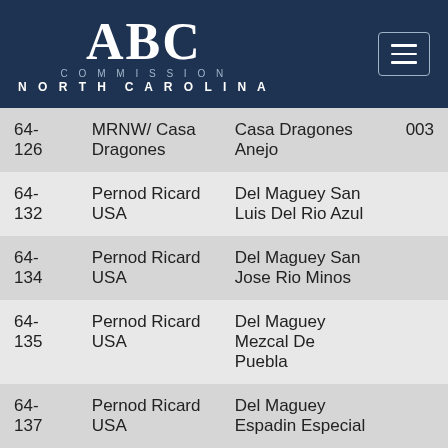ABC Commission North Carolina
| Code | Distributor | Product |  |
| --- | --- | --- | --- |
| 64-126 | MRNW/ Casa Dragones | Casa Dragones Anejo | 003 |
| 64-132 | Pernod Ricard USA | Del Maguey San Luis Del Rio Azul |  |
| 64-134 | Pernod Ricard USA | Del Maguey San Jose Rio Minos |  |
| 64-135 | Pernod Ricard USA | Del Maguey Mezcal De Puebla |  |
| 64-137 | Pernod Ricard USA | Del Maguey Espadin Especial |  |